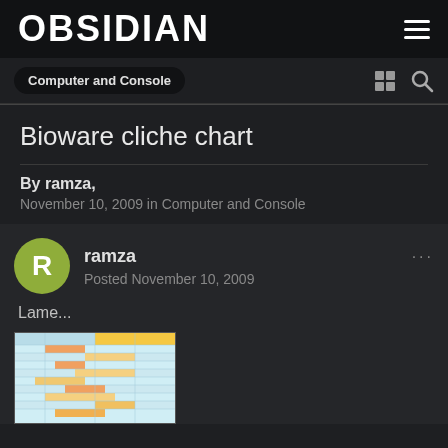OBSIDIAN
Computer and Console
Bioware cliche chart
By ramza, November 10, 2009 in Computer and Console
ramza
Posted November 10, 2009
Lame...
[Figure (table-as-image): A colorful table/chart showing BioWare RPG clichés with various colored cells in light blue, yellow, and orange]